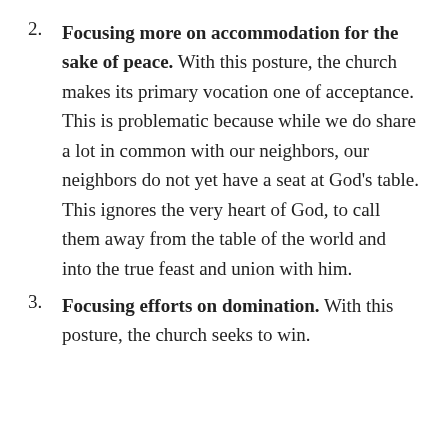2. Focusing more on accommodation for the sake of peace. With this posture, the church makes its primary vocation one of acceptance. This is problematic because while we do share a lot in common with our neighbors, our neighbors do not yet have a seat at God's table. This ignores the very heart of God, to call them away from the table of the world and into the true feast and union with him.
3. Focusing efforts on domination. With this posture, the church seeks to win.